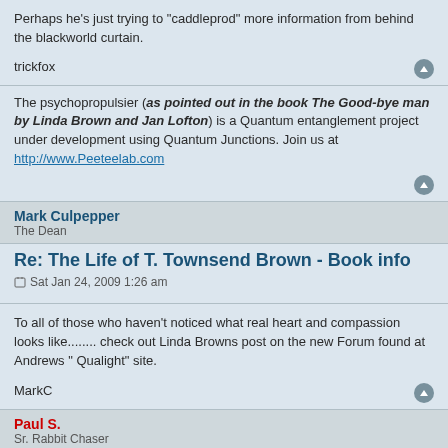Perhaps he's just trying to "caddleprod" more information from behind the blackworld curtain.
trickfox
The psychopropulsier (as pointed out in the book The Good-bye man by Linda Brown and Jan Lofton) is a Quantum entanglement project under development using Quantum Junctions. Join us at http://www.Peeteelab.com
Mark Culpepper
The Dean
Re: The Life of T. Townsend Brown - Book info
Sat Jan 24, 2009 1:26 am
To all of those who haven't noticed what real heart and compassion looks like........ check out Linda Browns post on the new Forum found at Andrews " Qualight" site.
MarkC
Paul S.
Sr. Rabbit Chaser